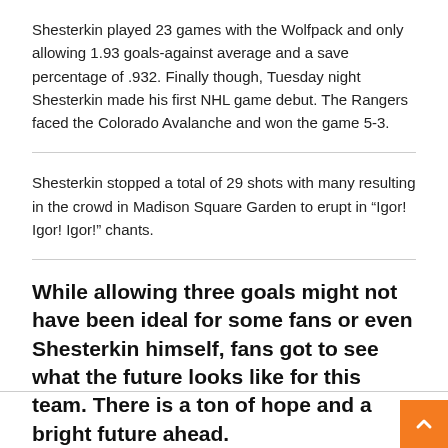Shesterkin played 23 games with the Wolfpack and only allowing 1.93 goals-against average and a save percentage of .932. Finally though, Tuesday night Shesterkin made his first NHL game debut. The Rangers faced the Colorado Avalanche and won the game 5-3.
Shesterkin stopped a total of 29 shots with many resulting in the crowd in Madison Square Garden to erupt in “Igor! Igor! Igor!” chants.
While allowing three goals might not have been ideal for some fans or even Shesterkin himself, fans got to see what the future looks like for this team. There is a ton of hope and a bright future ahead.